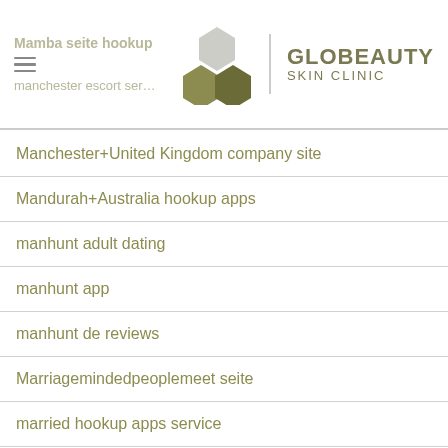Mamba seite hookup | Globeauty Skin Clinic | manchester escort services
Manchester+United Kingdom company site
Mandurah+Australia hookup apps
manhunt adult dating
manhunt app
manhunt de reviews
Marriagemindedpeoplemeet seite
married hookup apps service
married hookup apps top 3
married secrets reddit
married-dating-houston-texas mobile site
married secrets overnight Dating